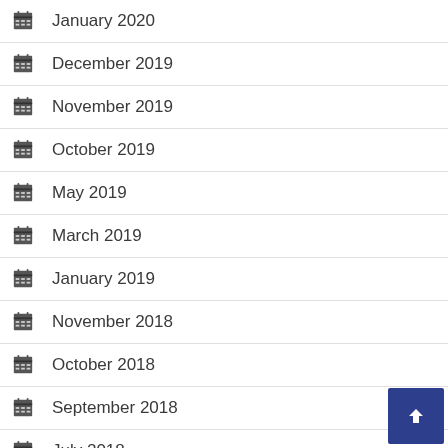January 2020
December 2019
November 2019
October 2019
May 2019
March 2019
January 2019
November 2018
October 2018
September 2018
July 2018
April 2018
March 2018